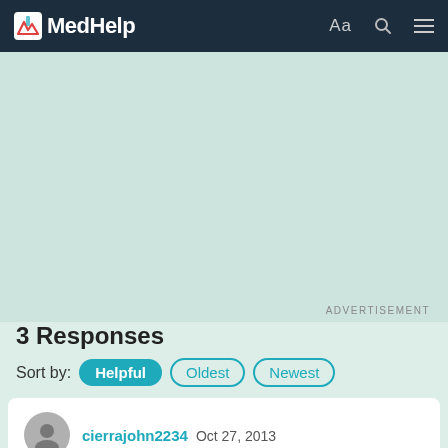MedHelp
[Figure (screenshot): Advertisement placeholder area with light teal background]
ADVERTISEMENT
3 Responses
Sort by: Helpful  Oldest  Newest
cierrajohn2234  Oct 27, 2013

Hiiii I have a similar problem except I live out in the